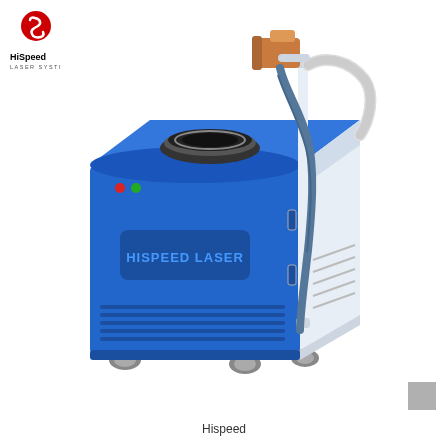[Figure (logo): HiSpeed Laser System logo with red swirl S icon and brand name]
[Figure (photo): HiSpeed Laser industrial laser cleaning/welding machine on wheels. Blue and white cabinet with laser head and flexible cable/hose on top, branded 'HISPEED LASER' on the front panel. The unit sits on caster wheels and has a vertical handle/stand on the right side.]
Hispeed